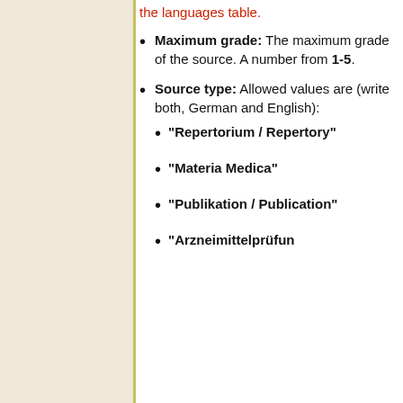the languages table.
Maximum grade: The maximum grade of the source. A number from 1-5.
Source type: Allowed values are (write both, German and English):
"Repertorium / Repertory"
"Materia Medica"
"Publikation / Publication"
"Arzneimittelprüfun..."